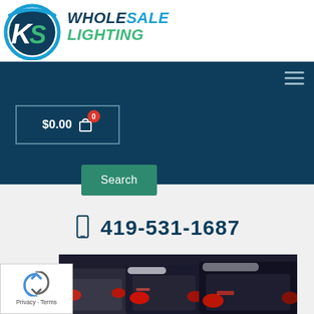[Figure (logo): Wholesale Lighting logo with KS icon and bold italic text]
[Figure (screenshot): Dark navy navigation bar with hamburger menu icon on right]
$0.00 0
Search
419-531-1687
[Figure (photo): Row of cars from rear angle showing red tail lights]
[Figure (other): reCAPTCHA widget with Privacy and Terms text]